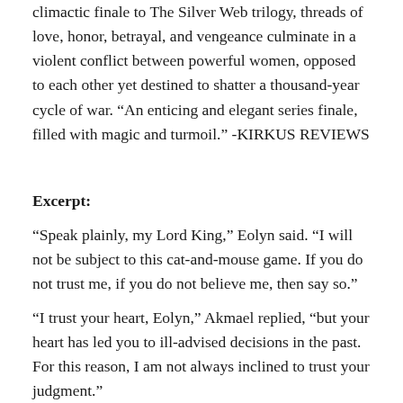climactic finale to The Silver Web trilogy, threads of love, honor, betrayal, and vengeance culminate in a violent conflict between powerful women, opposed to each other yet destined to shatter a thousand-year cycle of war. “An enticing and elegant series finale, filled with magic and turmoil.” -KIRKUS REVIEWS
Excerpt:
“Speak plainly, my Lord King,” Eolyn said. “I will not be subject to this cat-and-mouse game. If you do not trust me, if you do not believe me, then say so.”
“I trust your heart, Eolyn,” Akmael replied, “but your heart has led you to ill-advised decisions in the past. For this reason, I am not always inclined to trust your judgment.”